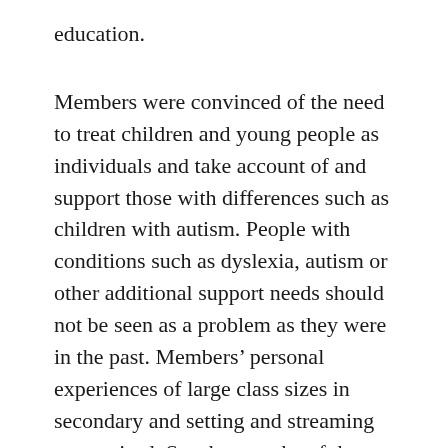education.
Members were convinced of the need to treat children and young people as individuals and take account of and support those with differences such as children with autism. People with conditions such as dyslexia, autism or other additional support needs should not be seen as a problem as they were in the past. Members’ personal experiences of large class sizes in secondary and setting and streaming were raised. Speakers spoke of that feeling of being sorted out and devalued by a system that can seem just to reproduce and reinforce inequalities.   Children and young people are now identified with their support needs. Yet